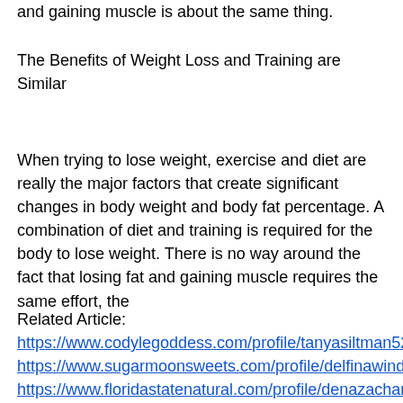and gaining muscle is about the same thing.
The Benefits of Weight Loss and Training are Similar
When trying to lose weight, exercise and diet are really the major factors that create significant changes in body weight and body fat percentage. A combination of diet and training is required for the body to lose weight. There is no way around the fact that losing fat and gaining muscle requires the same effort, the
Related Article:
https://www.codylegoddess.com/profile/tanyasiltman52507/profile
https://www.sugarmoonsweets.com/profile/delfinawinders138568/profile
https://www.floridastatenatural.com/profile/denazacharias172276/profile
https://www.theracharge.net/profile/someoo...